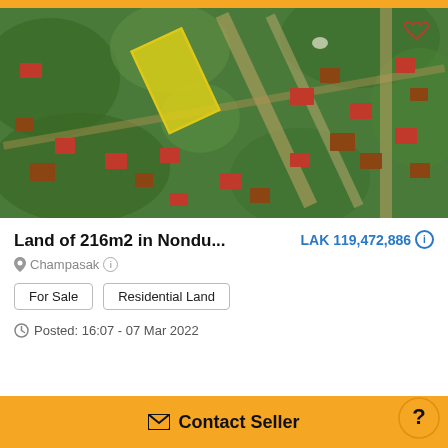[Figure (photo): Aerial/satellite view of land plot in residential area, with a yellow highlighted rectangular parcel visible among green vegetation, red-roofed buildings, and dirt roads. A heart/favorite icon appears top right.]
Land of 216m2 in Nondu... LAK 119,472,886
Champasak
For Sale
Residential Land
Posted: 16:07 - 07 Mar 2022
Contact Seller